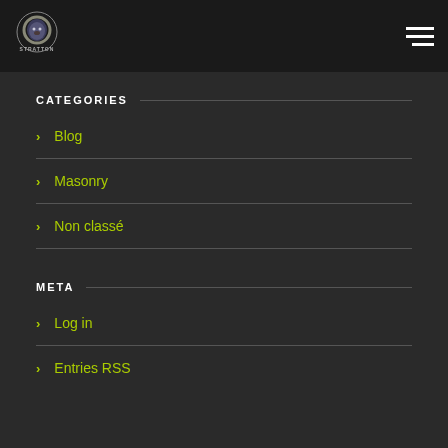[Figure (logo): Stratton logo with lion head icon and text STRATTON below]
CATEGORIES
Blog
Masonry
Non classé
META
Log in
Entries RSS